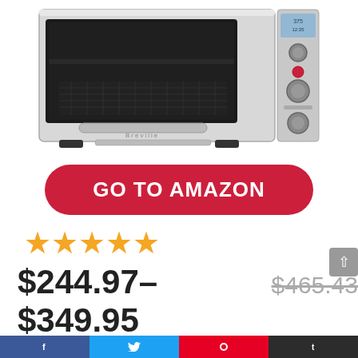[Figure (photo): Breville smart oven air fryer toaster oven, stainless steel, with digital display and control knobs on the right side]
GO TO AMAZON
★★★★★
$244.97–$349.95 $465.43
Last update was on: Thursday, December 19, 2019